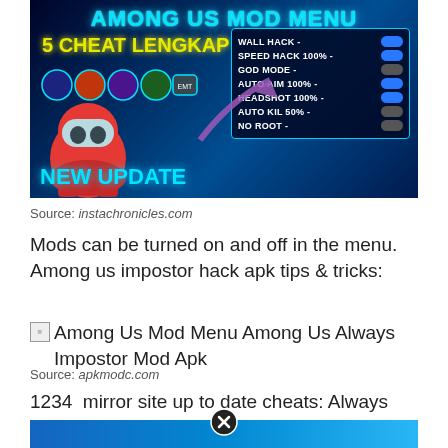[Figure (screenshot): Among Us Mod Menu hack screenshot showing 5 cheat options: Wall Hack, Speed Hack 100%, God Mode, Auto Aim 100%, Headshot 100%, Auto Kil 50%, No Root - with toggle switches. Red Among Us character and NEW UPDATE text visible.]
Source: instachronicles.com
Mods can be turned on and off in the menu. Among us impostor hack apk tips & tricks:
Among Us Mod Menu Among Us Always Impostor Mod Apk
Source: apkmodc.com
1234  mirror site up to date cheats: Always imposter, teleport, kill all and more among us cheats.
[Figure (screenshot): Partial bottom image showing a colorful game screenshot, partially cut off.]